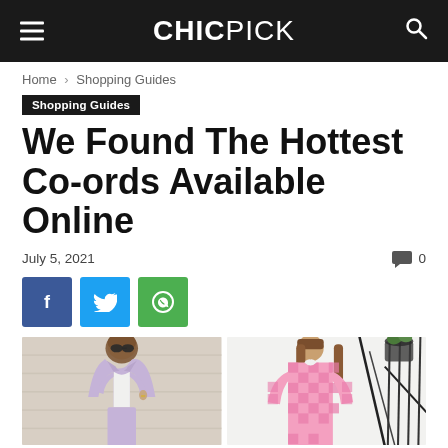CHICPICK
Home > Shopping Guides
Shopping Guides
We Found The Hottest Co-ords Available Online
July 5, 2021   0
[Figure (other): Social share buttons: Facebook (blue), Twitter (light blue), WhatsApp (green)]
[Figure (photo): Two fashion photos side by side: left shows a woman in a lavender co-ord suit standing against a beige wall; right shows a woman in a pink gingham check co-ord set standing outside.]